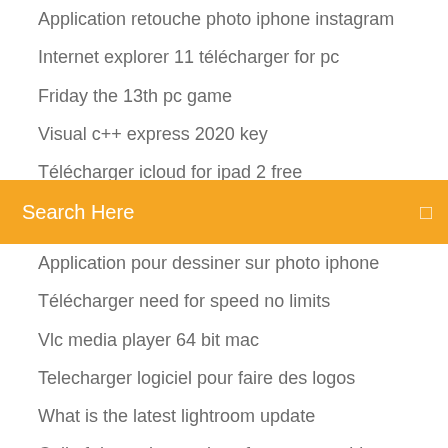Application retouche photo iphone instagram
Internet explorer 11 télécharger for pc
Friday the 13th pc game
Visual c++ express 2020 key
Télécharger icloud for ipad 2 free
Comment savoir si un contact nous a bloqué sur facebook
[Figure (screenshot): Orange search bar widget with white text 'Search Here' and a search icon on the right]
Application pour dessiner sur photo iphone
Télécharger need for speed no limits
Vlc media player 64 bit mac
Telecharger logiciel pour faire des logos
What is the latest lightroom update
Call of duty advanced warfare exo zombies story mode
Comment avoir minecraft pocket edition gratuit sur android
Comment telecharger deezer sur cle usb
Slime rancher télécharger free
Logiciel convertir word en excel gratuit
Outil de mise a jour windows 10 1809